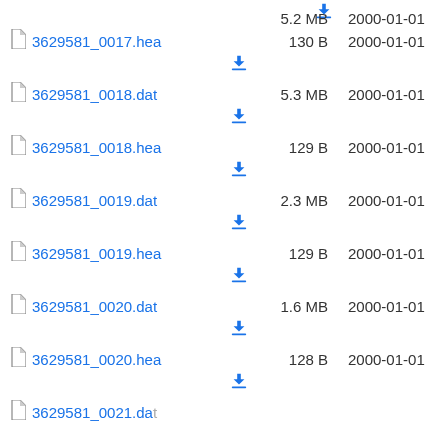[download icon] 5.2 MB 2000-01-01
3629581_0017.hea 130 B 2000-01-01
3629581_0018.dat 5.3 MB 2000-01-01
3629581_0018.hea 129 B 2000-01-01
3629581_0019.dat 2.3 MB 2000-01-01
3629581_0019.hea 129 B 2000-01-01
3629581_0020.dat 1.6 MB 2000-01-01
3629581_0020.hea 128 B 2000-01-01
3629581_0021.dat (partial)